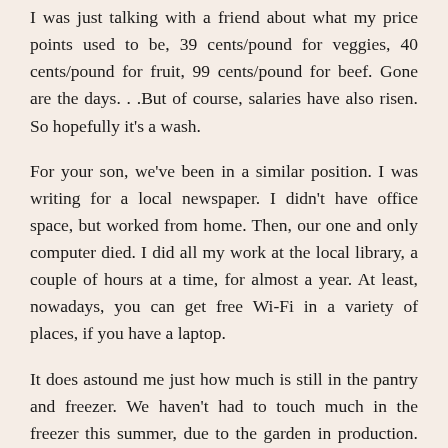I was just talking with a friend about what my price points used to be, 39 cents/pound for veggies, 40 cents/pound for fruit, 99 cents/pound for beef. Gone are the days. . .But of course, salaries have also risen. So hopefully it's a wash.
For your son, we've been in a similar position. I was writing for a local newspaper. I didn't have office space, but worked from home. Then, our one and only computer died. I did all my work at the local library, a couple of hours at a time, for almost a year. At least, nowadays, you can get free Wi-Fi in a variety of places, if you have a laptop.
It does astound me just how much is still in the pantry and freezer. We haven't had to touch much in the freezer this summer, due to the garden in production. Thanks for the good wishes! Much appreciated!
Reply